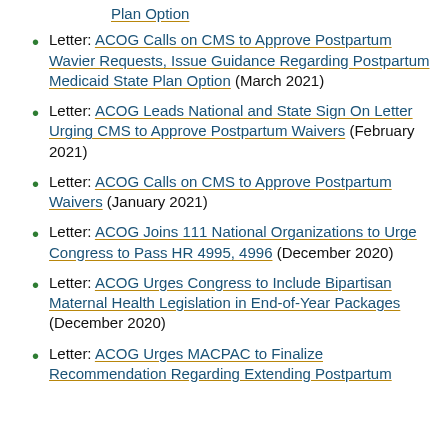Letter: ACOG Calls on CMS to Approve Postpartum Wavier Requests, Issue Guidance Regarding Postpartum Medicaid State Plan Option (March 2021)
Letter: ACOG Leads National and State Sign On Letter Urging CMS to Approve Postpartum Waivers (February 2021)
Letter: ACOG Calls on CMS to Approve Postpartum Waivers (January 2021)
Letter: ACOG Joins 111 National Organizations to Urge Congress to Pass HR 4995, 4996 (December 2020)
Letter: ACOG Urges Congress to Include Bipartisan Maternal Health Legislation in End-of-Year Packages (December 2020)
Letter: ACOG Urges MACPAC to Finalize Recommendation Regarding Extending Postpartum